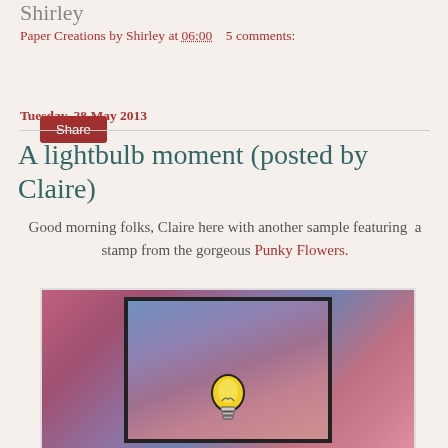Shirley
Paper Creations by Shirley at 06:00  5 comments:
Share
Tuesday, 28 May 2013
A lightbulb moment (posted by Claire)
Good morning folks, Claire here with another sample featuring  a stamp from the gorgeous Punky Flowers.
[Figure (photo): A handmade card featuring a lightbulb stamp on a dark card panel with layered purple, pink and blue ink backgrounds]